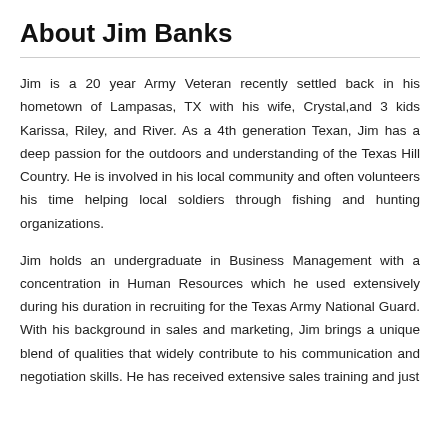About Jim Banks
Jim is a 20 year Army Veteran recently settled back in his hometown of Lampasas, TX with his wife, Crystal,and 3 kids Karissa, Riley, and River. As a 4th generation Texan, Jim has a deep passion for the outdoors and understanding of the Texas Hill Country. He is involved in his local community and often volunteers his time helping local soldiers through fishing and hunting organizations.
Jim holds an undergraduate in Business Management with a concentration in Human Resources which he used extensively during his duration in recruiting for the Texas Army National Guard. With his background in sales and marketing, Jim brings a unique blend of qualities that widely contribute to his communication and negotiation skills. He has received extensive sales training and just